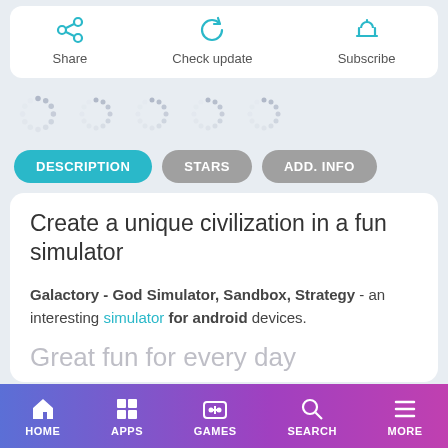[Figure (screenshot): App action bar with Share, Check update, Subscribe options and icons]
[Figure (other): Row of five loading spinner indicators]
[Figure (other): Tab navigation buttons: DESCRIPTION (active/teal), STARS (grey), ADD. INFO (grey)]
Create a unique civilization in a fun simulator
Galactory - God Simulator, Sandbox, Strategy - an interesting simulator for android devices.
Great fun for every day
[Figure (other): Bottom navigation bar with HOME, APPS, GAMES, SEARCH, MORE icons on purple gradient background]